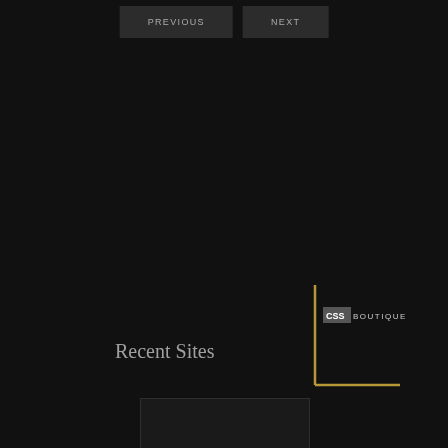PREVIOUS
NEXT
[Figure (logo): CSS Boutique logo with gold L-bracket corner decoration]
Recent Sites
[Figure (screenshot): Dark screenshot thumbnail area at bottom of page]